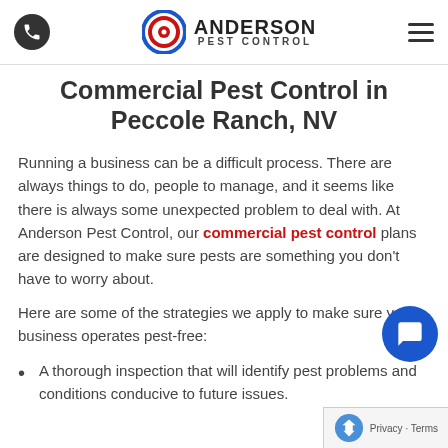Anderson Pest Control — navigation header with phone icon and hamburger menu
Commercial Pest Control in Peccole Ranch, NV
Running a business can be a difficult process. There are always things to do, people to manage, and it seems like there is always some unexpected problem to deal with. At Anderson Pest Control, our commercial pest control plans are designed to make sure pests are something you don't have to worry about.
Here are some of the strategies we apply to make sure your business operates pest-free:
A thorough inspection that will identify pest problems and conditions conducive to future issues.